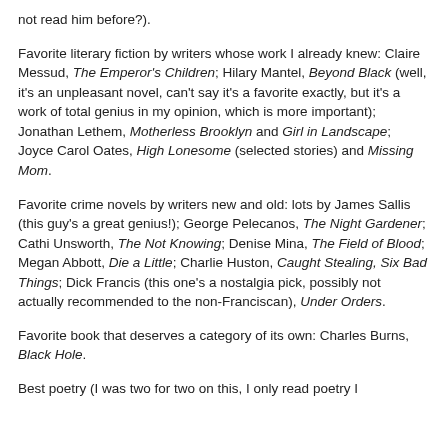not read him before?).
Favorite literary fiction by writers whose work I already knew: Claire Messud, The Emperor's Children; Hilary Mantel, Beyond Black (well, it's an unpleasant novel, can't say it's a favorite exactly, but it's a work of total genius in my opinion, which is more important); Jonathan Lethem, Motherless Brooklyn and Girl in Landscape; Joyce Carol Oates, High Lonesome (selected stories) and Missing Mom.
Favorite crime novels by writers new and old: lots by James Sallis (this guy's a great genius!); George Pelecanos, The Night Gardener; Cathi Unsworth, The Not Knowing; Denise Mina, The Field of Blood; Megan Abbott, Die a Little; Charlie Huston, Caught Stealing, Six Bad Things; Dick Francis (this one's a nostalgia pick, possibly not actually recommended to the non-Franciscan), Under Orders.
Favorite book that deserves a category of its own: Charles Burns, Black Hole.
Best poetry (I was two for two on this, I only read poetry I